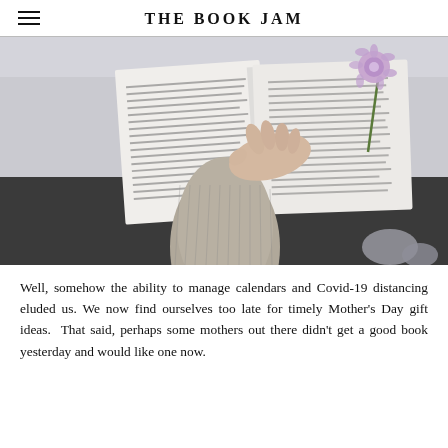THE BOOK JAM
[Figure (photo): A person's hand in a grey knit sweater resting on an open book, with a purple flower laid beside it on a light surface, photographed from above.]
Well, somehow the ability to manage calendars and Covid-19 distancing eluded us. We now find ourselves too late for timely Mother's Day gift ideas.  That said, perhaps some mothers out there didn't get a good book yesterday and would like one now.